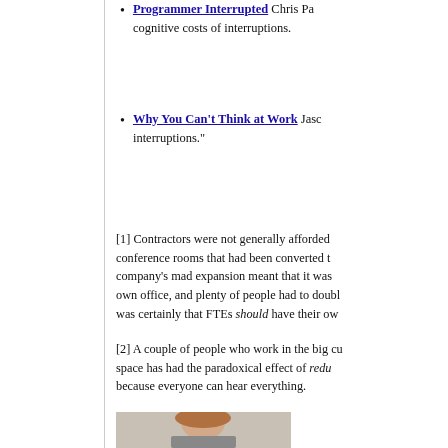Programmer Interrupted Chris Pa cognitive costs of interruptions.
Why You Can't Think at Work Jaso interruptions."
[1] Contractors were not generally afforded conference rooms that had been converted t company's mad expansion meant that it was own office, and plenty of people had to doubl was certainly that FTEs should have their ow
[2] A couple of people who work in the big cu space has had the paradoxical effect of redu because everyone can hear everything.
[Figure (photo): Partial photo of a person with reddish hair, cropped at bottom of page]